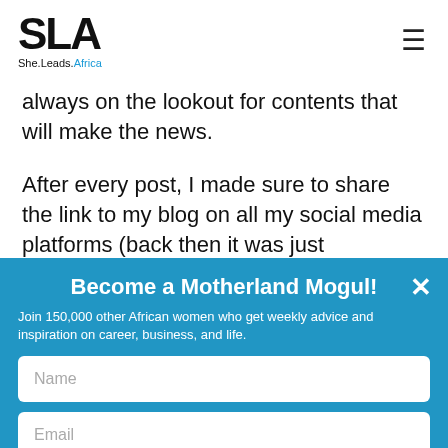SLA She.Leads.Africa
always on the lookout for contents that will make the news.
After every post, I made sure to share the link to my blog on all my social media platforms (back then it was just Facebook and Twitter) and I consistently
Become a Motherland Mogul!
Join 150,000 other African women who get weekly advice and inspiration on career, business, and life.